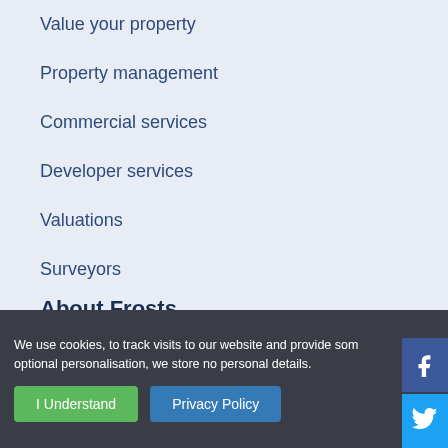Value your property
Property management
Commercial services
Developer services
Valuations
Surveyors
About Frosts
Frosts since 1906
Our credentials
We use cookies, to track visits to our website and provide some optional personalisation, we store no personal details.